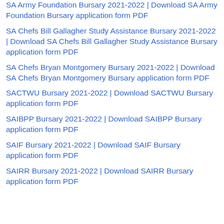SA Army Foundation Bursary 2021-2022 | Download SA Army Foundation Bursary application form PDF
SA Chefs Bill Gallagher Study Assistance Bursary 2021-2022 | Download SA Chefs Bill Gallagher Study Assistance Bursary application form PDF
SA Chefs Bryan Montgomery Bursary 2021-2022 | Download SA Chefs Bryan Montgomery Bursary application form PDF
SACTWU Bursary 2021-2022 | Download SACTWU Bursary application form PDF
SAIBPP Bursary 2021-2022 | Download SAIBPP Bursary application form PDF
SAIF Bursary 2021-2022 | Download SAIF Bursary application form PDF
SAIRR Bursary 2021-2022 | Download SAIRR Bursary application form PDF